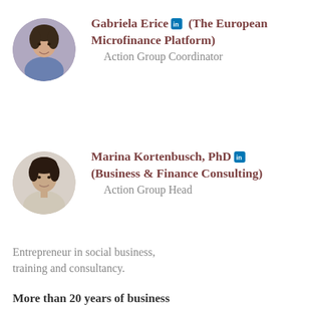[Figure (photo): Portrait photo of Gabriela Erice, circular crop]
Gabriela Erice [LinkedIn] (The European Microfinance Platform)
    Action Group Coordinator
[Figure (photo): Portrait photo of Marina Kortenbusch, circular crop]
Marina Kortenbusch, PhD [LinkedIn] (Business & Finance Consulting)
    Action Group Head
Entrepreneur in social business, training and consultancy.
More than 20 years of business